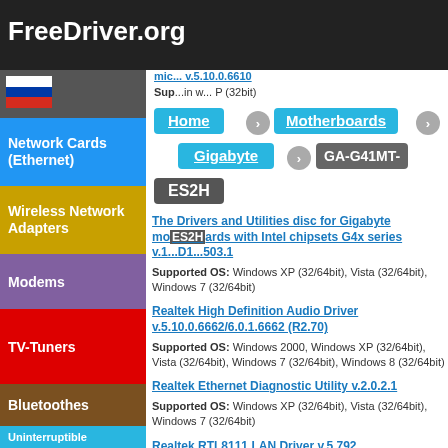FreeDriver.org
[Figure (screenshot): Russian flag icon in sidebar]
Network Cards (Ethernet)
Wireless Network Adapters
Modems
TV-Tuners
Bluetoothes
Uninterruptible
Home > Motherboards > Gigabyte > GA-G41MT- > ES2H
The Drivers and Utilities disc for Gigabyte motherboards with Intel chipsets G4x series v.1... D1...503.1
Supported OS: Windows XP (32/64bit), Vista (32/64bit), Windows 7 (32/64bit)
Realtek High Definition Audio Driver v.5.10.0.6662/6.0.1.6662 (R2.70)
Supported OS: Windows 2000, Windows XP (32/64bit), Vista (32/64bit), Windows 7 (32/64bit), Windows 8 (32/64bit)
Realtek Ethernet Diagnostic Utility v.2.0.2.1
Supported OS: Windows XP (32/64bit), Vista (32/64bit), Windows 7 (32/64bit)
Realtek RTL8111 LAN Driver v.5.792
Supported OS: Windows XP (32/64bit)